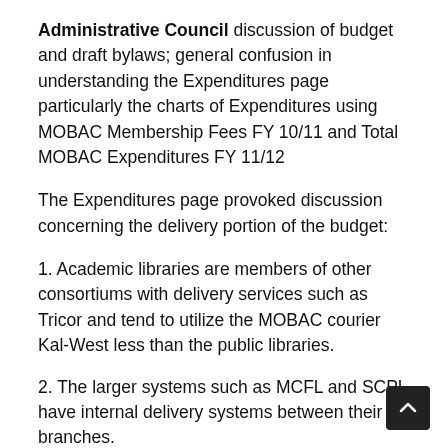Administrative Council discussion of budget and draft bylaws; general confusion in understanding the Expenditures page particularly the charts of Expenditures using MOBAC Membership Fees FY 10/11 and Total MOBAC Expenditures FY 11/12
The Expenditures page provoked discussion concerning the delivery portion of the budget:
1. Academic libraries are members of other consortiums with delivery services such as Tricor and tend to utilize the MOBAC courier Kal-West less than the public libraries.
2. The larger systems such as MCFL and SCPL have internal delivery systems between their branches.